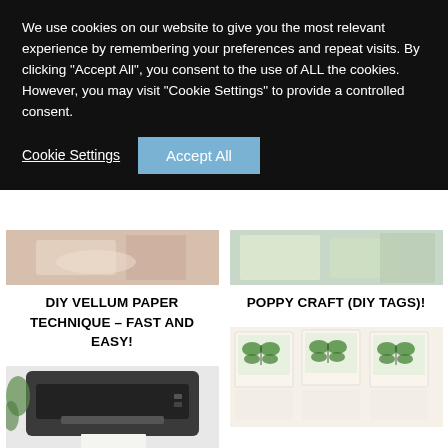We use cookies on our website to give you the most relevant experience by remembering your preferences and repeat visits. By clicking “Accept All”, you consent to the use of ALL the cookies. However, you may visit "Cookie Settings" to provide a controlled consent.
Cookie Settings
Accept All
[Figure (photo): Partial view of a person handling paper/cards, left column top image]
[Figure (photo): Partial view of person holding tags with green items, right column top image]
DIY VELLUM PAPER TECHNIQUE – FAST AND EASY!
POPPY CRAFT (DIY TAGS)!
[Figure (photo): Laser printer printing a sheet of paper]
[Figure (photo): Collection of printed botanical butterfly cards/tags laid out on a white surface]